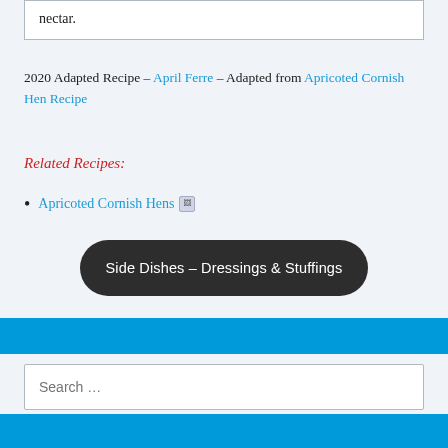nectar.
2020 Adapted Recipe – April Ferre – Adapted from Apricoted Cornish Hen Recipe
Related Recipes:
Apricoted Cornish Hens
Side Dishes – Dressings & Stuffings
Search ...